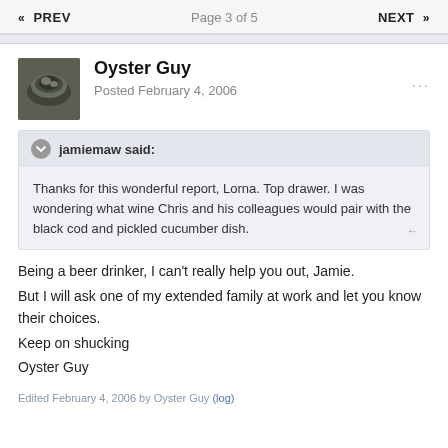« PREV   Page 3 of 5   NEXT »
Oyster Guy
Posted February 4, 2006
jamiemaw said: Thanks for this wonderful report, Lorna. Top drawer. I was wondering what wine Chris and his colleagues would pair with the black cod and pickled cucumber dish.
Being a beer drinker, I can't really help you out, Jamie.
But I will ask one of my extended family at work and let you know their choices.
Keep on shucking
Oyster Guy
Edited February 4, 2006 by Oyster Guy (log)